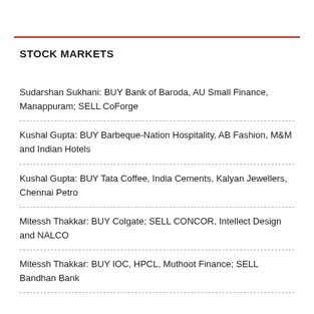STOCK MARKETS
Sudarshan Sukhani: BUY Bank of Baroda, AU Small Finance, Manappuram; SELL CoForge
Kushal Gupta: BUY Barbeque-Nation Hospitality, AB Fashion, M&M and Indian Hotels
Kushal Gupta: BUY Tata Coffee, India Cements, Kalyan Jewellers, Chennai Petro
Mitessh Thakkar: BUY Colgate; SELL CONCOR, Intellect Design and NALCO
Mitessh Thakkar: BUY IOC, HPCL, Muthoot Finance; SELL Bandhan Bank